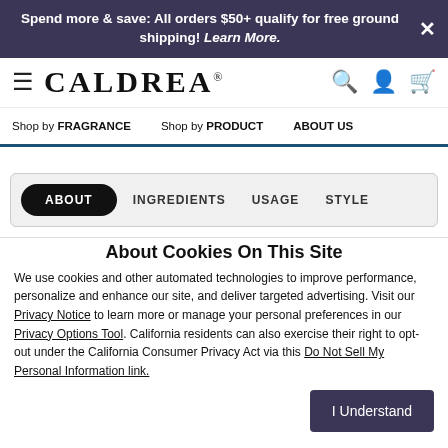Spend more & save: All orders $50+ qualify for free ground shipping! Learn More.
[Figure (logo): Caldrea brand logo with hamburger menu icon, search, account, and cart icons]
Shop by FRAGRANCE   Shop by PRODUCT   ABOUT US
ABOUT   INGREDIENTS   USAGE   STYLE
About Cookies On This Site
We use cookies and other automated technologies to improve performance, personalize and enhance our site, and deliver targeted advertising. Visit our Privacy Notice to learn more or manage your personal preferences in our Privacy Options Tool. California residents can also exercise their right to opt-out under the California Consumer Privacy Act via this Do Not Sell My Personal Information link.
I Understand